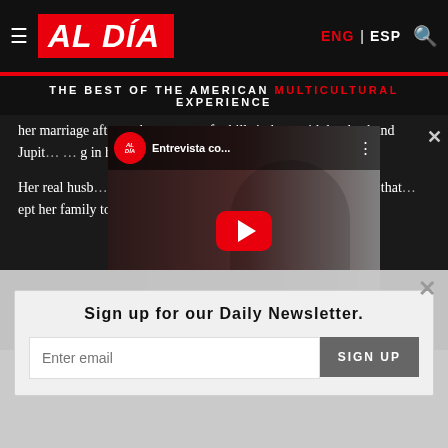AL DÍA — THE BEST OF THE AMERICAN MULTICULTURAL EXPERIENCE | ENG | ESP
her marriage after, or here, a mot, far hills in love with her husband Jupit… [in her power to save…]
[Figure (screenshot): YouTube video overlay showing an AL DÍA branded interview thumbnail with title 'Entrevista co...' and a red play button, with a woman visible in the background]
Her real husb… in the opera. They have be… s and she believes that… ept her family togeth…
After the show, Daniela and Alek plan to return to Indiana to
Sign up for our Daily Newsletter.
Enter email